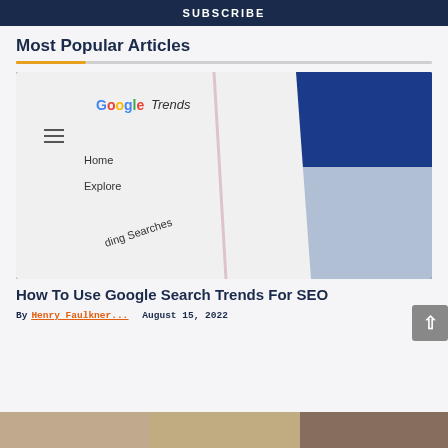SUBSCRIBE
Most Popular Articles
[Figure (photo): Close-up photo of a smartphone screen showing the Google Trends website with menu items Home, Explore, and Trending Searches visible]
How To Use Google Search Trends For SEO
By Henry Faulkner... August 15, 2022
[Figure (photo): Partial view of another article image at the bottom of the page]